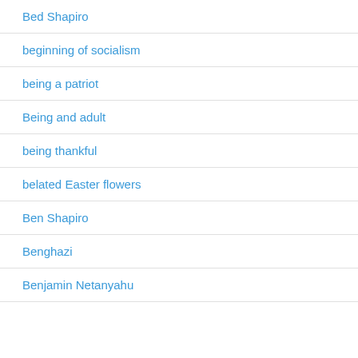Bed Shapiro
beginning of socialism
being a patriot
Being and adult
being thankful
belated Easter flowers
Ben Shapiro
Benghazi
Benjamin Netanyahu